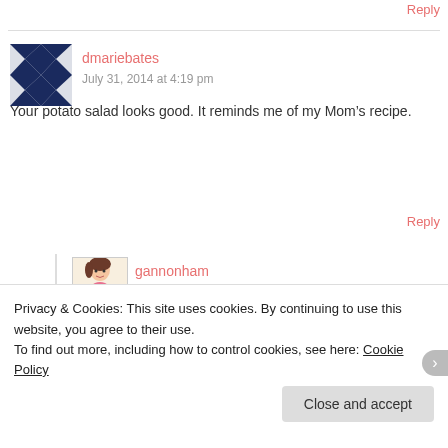Reply
[Figure (illustration): Avatar image with geometric navy blue and white pattern]
dmariebates
July 31, 2014 at 4:19 pm
Your potato salad looks good. It reminds me of my Mom’s recipe.
Reply
[Figure (illustration): Avatar image of a cartoon woman holding a cake]
gannonham
August 1, 2014 at 1:11 pm
Privacy & Cookies: This site uses cookies. By continuing to use this website, you agree to their use.
To find out more, including how to control cookies, see here: Cookie Policy
Close and accept